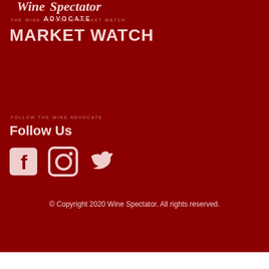[Figure (logo): Wine Advocate logo - partial text showing at top, white serif/italic lettering on dark red background]
MARKET WATCH
Follow Us
[Figure (illustration): Social media icons: Facebook, Instagram, Twitter in white on dark red background]
© Copyright 2020 Wine Spectator. All rights reserved.